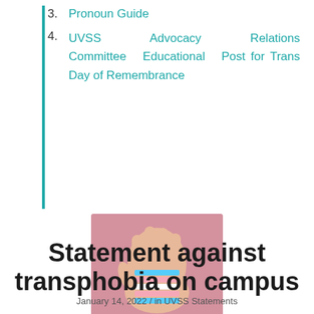3. Pronoun Guide
4. UVSS Advocacy Relations Committee Educational Post for Trans Day of Remembrance
[Figure (photo): Image of an open palm with blue, white, and pink stripes painted on it (transgender flag colors), against a pink background. Below the hand is a dark teal banner with small white text reading 'UVSS STATEMENT AGAINST TRANSPHOBIA ON CAMPUS'.]
Statement against transphobia on campus
January 14, 2022 / in UVSS Statements